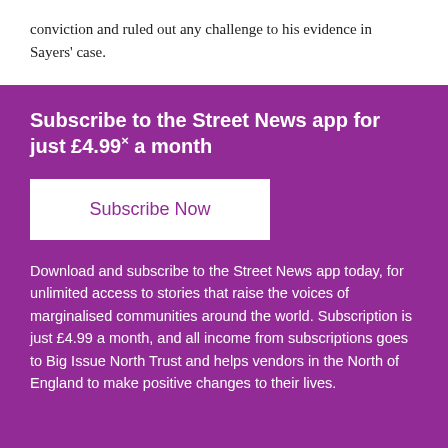conviction and ruled out any challenge to his evidence in Sayers' case.
Subscribe to the Street News app for just £4.99× a month
Subscribe Now
Download and subscribe to the Street News app today, for unlimited access to stories that raise the voices of marginalised communities around the world. Subscription is just £4.99 a month, and all income from subscriptions goes to Big Issue North Trust and helps vendors in the North of England to make positive changes to their lives.